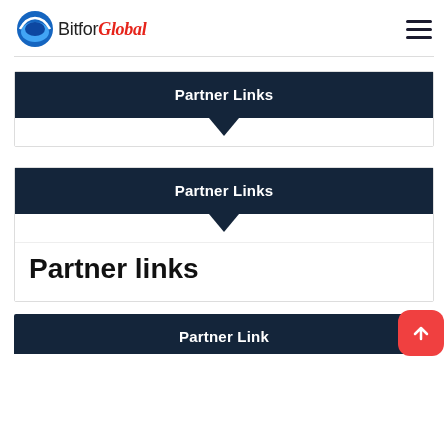BitforGlobal
Partner Links
Partner Links
Partner links
Partner Link